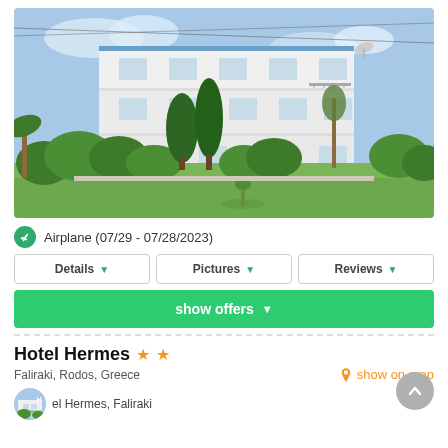[Figure (photo): Exterior photo of Hotel Hermes, a white multi-story building with blue window frames and balconies, surrounded by green lawn and trees under a blue sky.]
Airplane (07/29 - 07/28/2023)
Details
Pictures
Reviews
show offers
Hotel Hermes ★★
Faliraki, Rodos, Greece
show on map
el Hermes, Faliraki